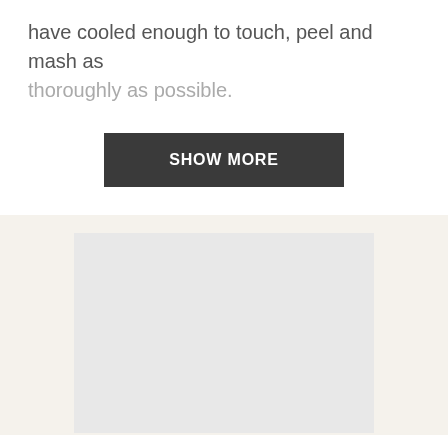have cooled enough to touch, peel and mash as thoroughly as possible.
[Figure (other): A 'SHOW MORE' dark button element]
[Figure (other): A light grey rectangular image placeholder on a cream/off-white background]